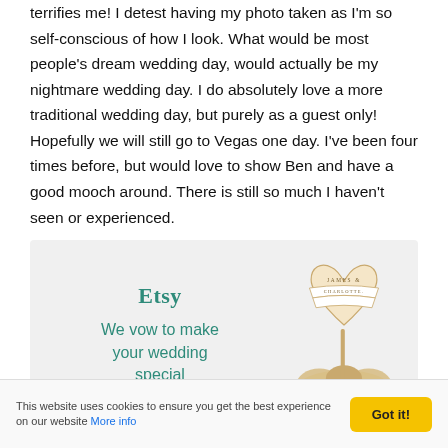terrifies me!  I detest having my photo taken as I'm so self-conscious of how I look.  What would be most people's dream wedding day, would actually be my nightmare wedding day.  I do absolutely love a more traditional wedding day, but purely as a guest only!  Hopefully we will still go to Vegas one day.  I've been four times before, but would love to show Ben and have a good mooch around.  There is still so much I haven't seen or experienced.
[Figure (illustration): Etsy advertisement with teal text reading 'Etsy' and 'We vow to make your wedding special', with a wooden heart cake topper engraved with 'JAMES & CHARLOTTE.' and decorative roses on the right side.]
This website uses cookies to ensure you get the best experience on our website More info